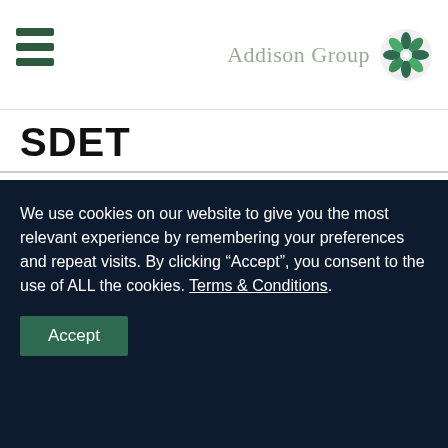Addison Group
SDET
Most Common Titles: SDET, Automation Engineer
Core Responsibilities: Create automated testing frameworks, analyze requirements, code and run automated test scripts, report
We use cookies on our website to give you the most relevant experience by remembering your preferences and repeat visits. By clicking “Accept”, you consent to the use of ALL the cookies. Terms & Conditions.
Accept